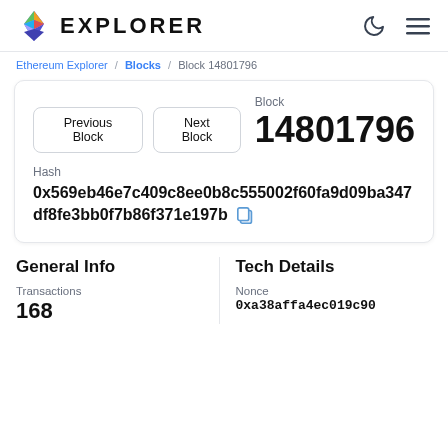EXPLORER
Ethereum Explorer / Blocks / Block 14801796
Block
14801796
Hash
0x569eb46e7c409c8ee0b8c555002f60fa9d09ba347df8fe3bb0f7b86f371e197b
General Info
Tech Details
Transactions
168
Nonce
0xa38affa4ec019c90